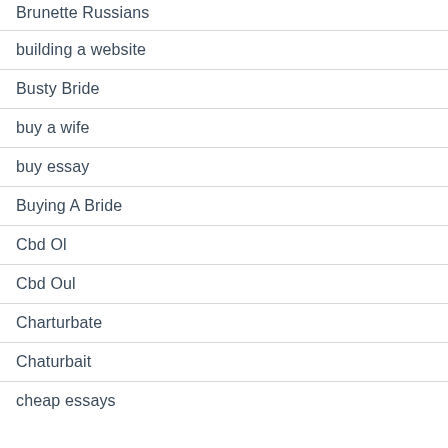Brunette Russians
building a website
Busty Bride
buy a wife
buy essay
Buying A Bride
Cbd Ol
Cbd Oul
Charturbate
Chaturbait
cheap essays